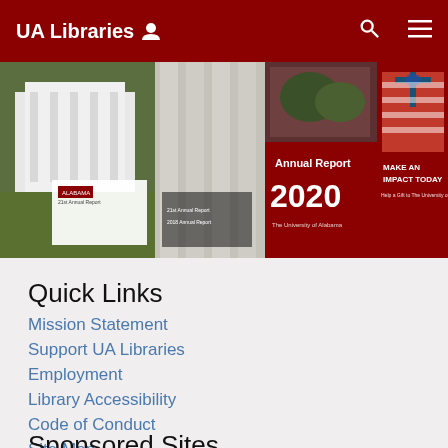UA Libraries
[Figure (photo): Collage of UA Libraries images including building exterior, columns, Annual Report 2020 cover, and Make An Impact Today donation banner]
Quick Links
Mission Statement
Support UA Libraries
Employment
Library Accessibility
Code of Conduct
Site Map
Sponsored Sites